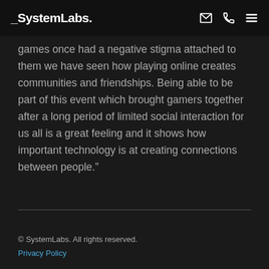_SystemLabs.
games once had a negative stigma attached to them we have seen how playing online creates communities and friendships. Being able to be part of this event which brought gamers together after a long period of limited social interaction for us all is a great feeling and it shows how important technology is at creating connections between people."
© SystemLabs. All rights reserved.
Privacy Policy